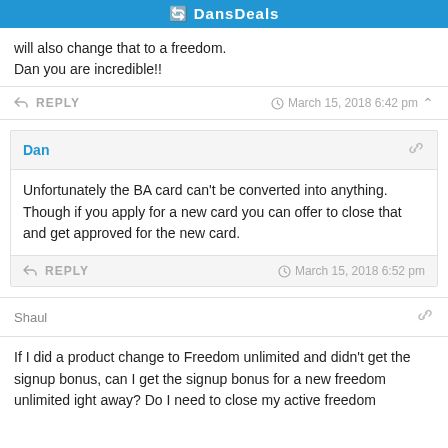DansDeals
will also change that to a freedom.
Dan you are incredible!!
REPLY   March 15, 2018 6:42 pm
Dan
Unfortunately the BA card can't be converted into anything. Though if you apply for a new card you can offer to close that and get approved for the new card.
REPLY   March 15, 2018 6:52 pm
Shaul
If I did a product change to Freedom unlimited and didn't get the signup bonus, can I get the signup bonus for a new freedom unlimited ight away? Do I need to close my active freedom